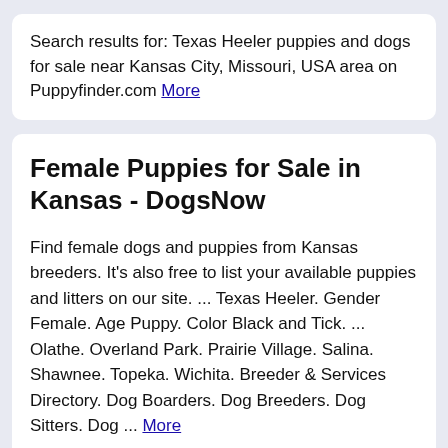Search results for: Texas Heeler puppies and dogs for sale near Kansas City, Missouri, USA area on Puppyfinder.com More
Female Puppies for Sale in Kansas - DogsNow
Find female dogs and puppies from Kansas breeders. It's also free to list your available puppies and litters on our site. ... Texas Heeler. Gender Female. Age Puppy. Color Black and Tick. ... Olathe. Overland Park. Prairie Village. Salina. Shawnee. Topeka. Wichita. Breeder & Services Directory. Dog Boarders. Dog Breeders. Dog Sitters. Dog ... More
Puppies for Sale in Kansas